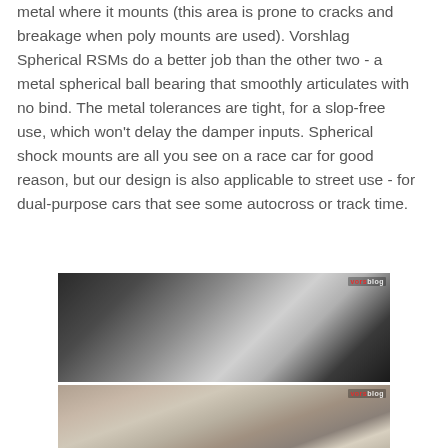metal where it mounts (this area is prone to cracks and breakage when poly mounts are used). Vorshlag Spherical RSMs do a better job than the other two - a metal spherical ball bearing that smoothly articulates with no bind. The metal tolerances are tight, for a slop-free use, which won't delay the damper inputs. Spherical shock mounts are all you see on a race car for good reason, but our design is also applicable to street use - for dual-purpose cars that see some autocross or track time.
[Figure (photo): Close-up photo of a metal spherical bearing/RSM part being machined or inspected on a lathe or CNC machine, showing polished metal surfaces. Watermark logo visible in top right corner.]
[Figure (photo): Close-up photo of a machined metal component, likely an RSM housing or related part with circular features, on a light background. Watermark logo visible in top right corner.]